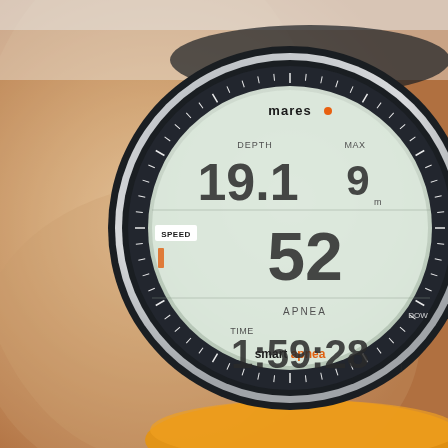[Figure (photo): Close-up photo of a Mares Smart Apnea dive watch worn on a wrist. The watch has a round black and silver bezel with tick marks. The LCD display shows: DEPTH 19.1m, MAX 9m, SPEED 52, APNEA label, TIME 1:59:28. The watch strap is black and orange. Text 'mares' appears at top of bezel and 'smart apnea' at the bottom.]